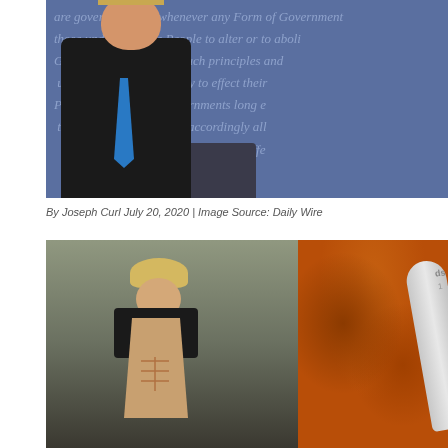[Figure (photo): Photo of a man in a dark suit with a blue tie standing at a debate podium. The background shows blue cursive text resembling the Declaration of Independence.]
By Joseph Curl July 20, 2020 | Image Source: Daily Wire
[Figure (photo): Split image: left half shows a muscular blonde female athlete in a black and red sports top showing her abs; right half shows an orange/red spice powder with a silver measuring spoon labeled 'dsp'.]